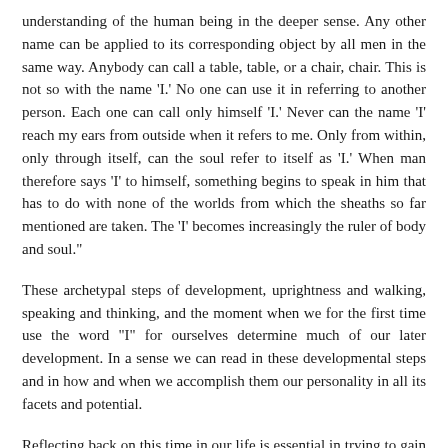understanding of the human being in the deeper sense. Any other name can be applied to its corresponding object by all men in the same way. Anybody can call a table, table, or a chair, chair. This is not so with the name 'I.' No one can use it in referring to another person. Each one can call only himself 'I.' Never can the name 'I' reach my ears from outside when it refers to me. Only from within, only through itself, can the soul refer to itself as 'I.' When man therefore says 'I' to himself, something begins to speak in him that has to do with none of the worlds from which the sheaths so far mentioned are taken. The 'I' becomes increasingly the ruler of body and soul."
These archetypal steps of development, uprightness and walking, speaking and thinking, and the moment when we for the first time use the word "I" for ourselves determine much of our later development. In a sense we can read in these developmental steps and in how and when we accomplish them our personality in all its facets and potential.
Reflecting back on this time in our life is essential in trying to gain an understanding of ourselves and our biography.